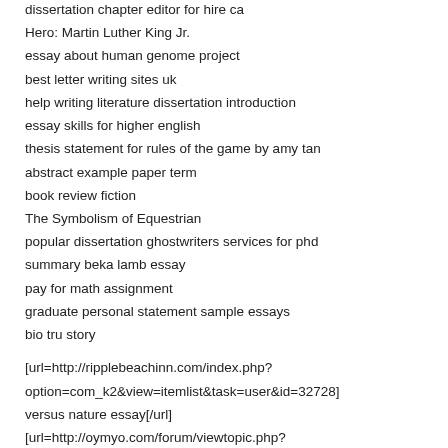dissertation chapter editor for hire ca
Hero: Martin Luther King Jr.
essay about human genome project
best letter writing sites uk
help writing literature dissertation introduction
essay skills for higher english
thesis statement for rules of the game by amy tan
abstract example paper term
book review fiction
The Symbolism of Equestrian
popular dissertation ghostwriters services for phd
summary beka lamb essay
pay for math assignment
graduate personal statement sample essays
bio tru story
[url=http://ripplebeachinn.com/index.php?option=com_k2&view=itemlist&task=user&id=32728] versus nature essay[/url]
[url=http://oymyo.com/forum/viewtopic.php?